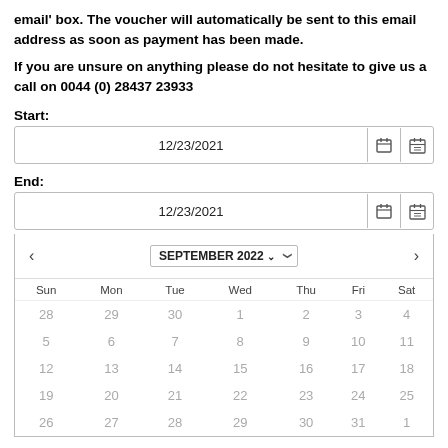email' box. The voucher will automatically be sent to this email address as soon as payment has been made.
If you are unsure on anything please do not hesitate to give us a call on 0044 (0) 28437 23933
Start:
[Figure (screenshot): Date input field showing 12/23/2021 with calendar icons]
End:
[Figure (screenshot): Date input field showing 12/23/2021 with calendar icons, and an open calendar picker showing September 2022 with days grid]